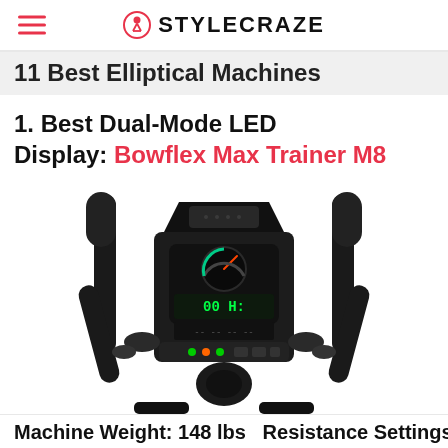STYLECRAZE
11 Best Elliptical Machines
1. Best Dual-Mode LED Display: Bowflex Max Trainer M8
[Figure (photo): Front view of Bowflex Max Trainer M8 elliptical machine, showing the handlebar assembly, digital LED display panel, and lower frame structure, photographed against a white background.]
Machine Weight: 148 lbs  Resistance Settings: